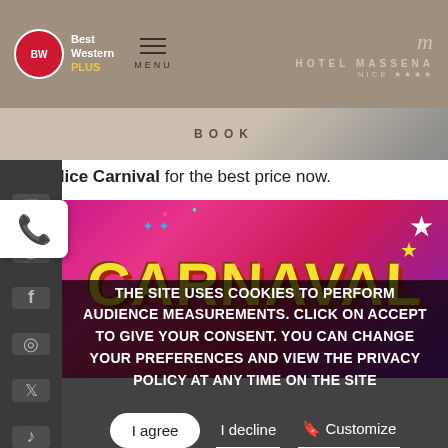[Figure (screenshot): Best Western Plus hotel website header with logo, menu button, and Hotel Massena Nice logo]
BOOK
the Nice Carnival for the best price now.
[Figure (photo): Colorful carnival poster with 'CARNAVAL' text in large yellow letters on a pink/red background with stars and confetti]
THE SITE USES COOKIES TO PERFORM AUDIENCE MEASUREMENTS. CLICK ON ACCEPT TO GIVE YOUR CONSENT. YOU CAN CHANGE YOUR PREFERENCES AND VIEW THE PRIVACY POLICY AT ANY TIME ON THE SITE
I agree | I decline | Customize